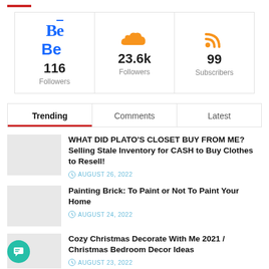| Behance | SoundCloud | RSS |
| --- | --- | --- |
| 116 Followers | 23.6k Followers | 99 Subscribers |
Trending | Comments | Latest
WHAT DID PLATO'S CLOSET BUY FROM ME? Selling Stale Inventory for CASH to Buy Clothes to Resell!
AUGUST 26, 2022
Painting Brick: To Paint or Not To Paint Your Home
AUGUST 24, 2022
Cozy Christmas Decorate With Me 2021 / Christmas Bedroom Decor Ideas
AUGUST 23, 2022